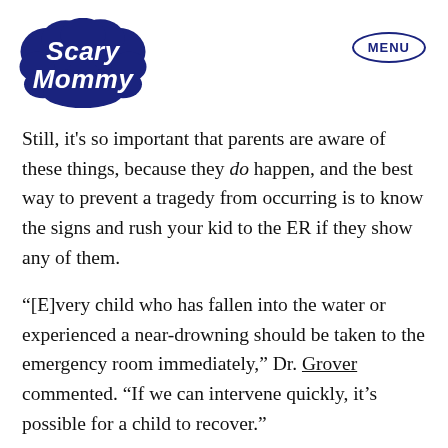[Figure (logo): Scary Mommy logo in dark navy blue with bubbly/cloud lettering style]
Still, it's so important that parents are aware of these things, because they do happen, and the best way to prevent a tragedy from occurring is to know the signs and rush your kid to the ER if they show any of them.
"[E]very child who has fallen into the water or experienced a near-drowning should be taken to the emergency room immediately," Dr. Grover commented. "If we can intervene quickly, it's possible for a child to recover."